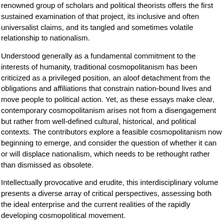renowned group of scholars and political theorists offers the first sustained examination of that project, its inclusive and often universalist claims, and its tangled and sometimes volatile relationship to nationalism.
Understood generally as a fundamental commitment to the interests of humanity, traditional cosmopolitanism has been criticized as a privileged position, an aloof detachment from the obligations and affiliations that constrain nation-bound lives and move people to political action. Yet, as these essays make clear, contemporary cosmopolitanism arises not from a disengagement but rather from well-defined cultural, historical, and political contexts. The contributors explore a feasible cosmopolitanism now beginning to emerge, and consider the question of whether it can or will displace nationalism, which needs to be rethought rather than dismissed as obsolete.
Intellectually provocative and erudite, this interdisciplinary volume presents a diverse array of critical perspectives, assessing both the ideal enterprise and the current realities of the rapidly developing cosmopolitical movement.
Contributors: Amanda Anderson, U of Illinois; Benedict Anderson, Cornell U; Kwame Anthony Appiah, Harvard U; Etienne Balibar, U of Paris, Nanterre; James Clifford, U of California, Santa Cruz; Bonnie